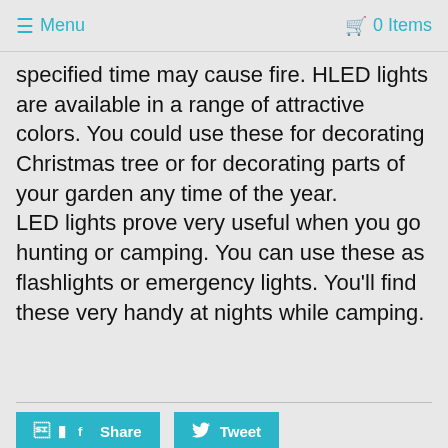≡ Menu   🛒 0 Items
specified time may cause fire. HLED lights are available in a range of attractive colors. You could use these for decorating Christmas tree or for decorating parts of your garden any time of the year.
LED lights prove very useful when you go hunting or camping. You can use these as flashlights or emergency lights. You'll find these very handy at nights while camping.
GO TO HOMEPAGE
Share   Tweet